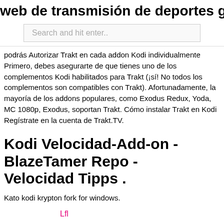web de transmisión de deportes grati
[Figure (screenshot): Search input box with placeholder text 'Search and hit enter..']
podrás Autorizar Trakt en cada addon Kodi individualmente Primero, debes asegurarte de que tienes uno de los complementos Kodi habilitados para Trakt (¡sí! No todos los complementos son compatibles con Trakt). Afortunadamente, la mayoría de los addons populares, como Exodus Redux, Yoda, MC 1080p, Exodus, soportan Trakt. Cómo instalar Trakt en Kodi Regístrate en la cuenta de Trakt.TV.
Kodi Velocidad-Add-on - BlazeTamer Repo - Velocidad Tipps .
Kato kodi krypton fork for windows.
Lfl
Tgz
SNtlv